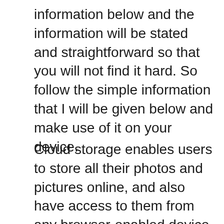information below and the information will be stated and straightforward so that you will not find it hard. So follow the simple information that I will be given below and make use of it on your device.
Cloud storage enables users to store all their photos and pictures online, and also have access to them from any browser-enabled device. So below is the list of the cloud storage that is available
[Figure (other): Advertisement banner for Loyal Companion Pet Health + Wellness Products with logo, arrow icon, play and close buttons]